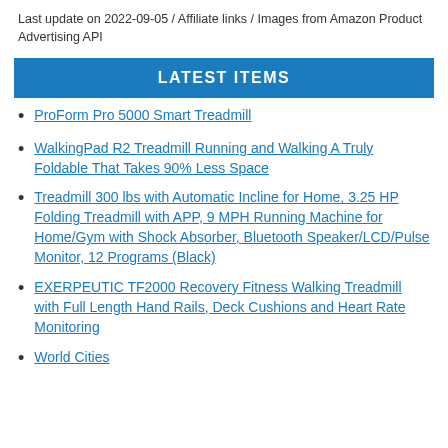Last update on 2022-09-05 / Affiliate links / Images from Amazon Product Advertising API
LATEST ITEMS
ProForm Pro 5000 Smart Treadmill
WalkingPad R2 Treadmill Running and Walking A Truly Foldable That Takes 90% Less Space
Treadmill 300 lbs with Automatic Incline for Home, 3.25 HP Folding Treadmill with APP, 9 MPH Running Machine for Home/Gym with Shock Absorber, Bluetooth Speaker/LCD/Pulse Monitor, 12 Programs (Black)
EXERPEUTIC TF2000 Recovery Fitness Walking Treadmill with Full Length Hand Rails, Deck Cushions and Heart Rate Monitoring
World Cities